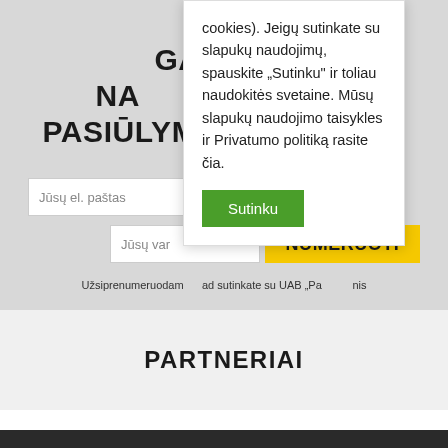GAUKITE NAUJINIUS PASIŪLYMUS IR NAUJAGAS
Jūsų el. paštas
Jūsų var
NUMERUOTI
Užsiprenumeruodam... ad sutinkate su UAB „Pa... nis
cookies). Jeigų sutinkate su slapukų naudojimų, spauskite „Sutinku" ir toliau naudokitės svetaine. Mūsų slapukų naudojimo taisykles ir Privatumo politiką rasite čia.
Sutinku
PARTNERIAI